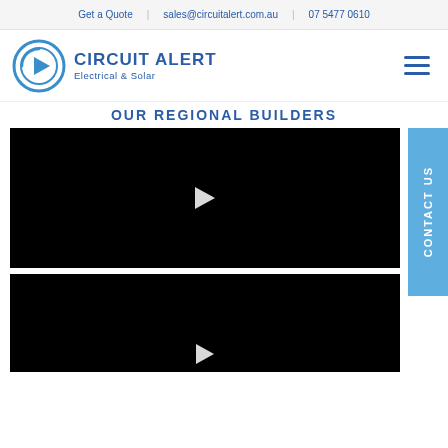Get a Quote  |  sales@circuitalert.com.au  |  07 5477 0610
[Figure (logo): Circuit Alert Electrical & Solar logo with circular arrow icon and company name]
OUR REGIONAL BUILDERS
[Figure (screenshot): Black video player with white play button triangle in center]
[Figure (screenshot): Black video player with white play button triangle, partially visible]